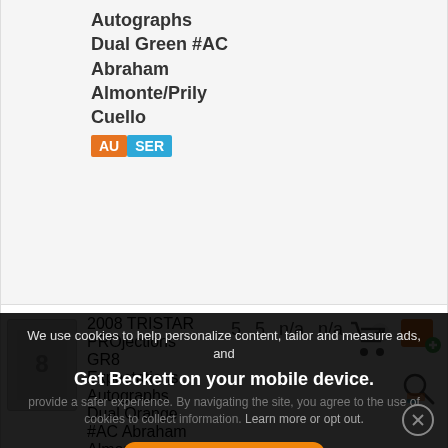Autographs Dual Green #AC Abraham Almonte/Prily Cuello AU SER
2008 TRISTAR PROjections GR8 Expectations Autographs Dual Orange #AC Abraham Almonte/Prily Cuello AU SER  5 5 n/a n/a
We use cookies to help personalize content, tailor and measure ads, and provide a safer experience. By navigating the site, you agree to the use of cookies to collect information. Get Beckett on your mobile device.